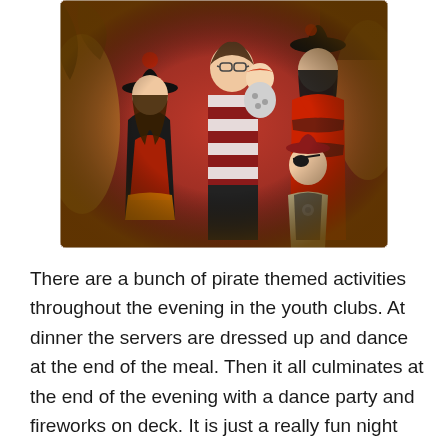[Figure (photo): A family dressed in pirate costumes posing together. The family includes a father in a striped shirt holding a baby, a mother in a pirate outfit, a girl in a black and red pirate dress with a pirate hat, and a boy with an eye patch. The background has a pirate-themed backdrop with red tones and pirate imagery.]
There are a bunch of pirate themed activities throughout the evening in the youth clubs. At dinner the servers are dressed up and dance at the end of the meal. Then it all culminates at the end of the evening with a dance party and fireworks on deck. It is just a really fun night and it is always fun see everyone's